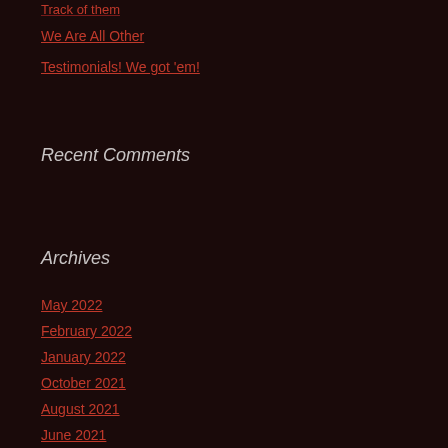Track of them
We Are All Other
Testimonials! We got 'em!
Recent Comments
Archives
May 2022
February 2022
January 2022
October 2021
August 2021
June 2021